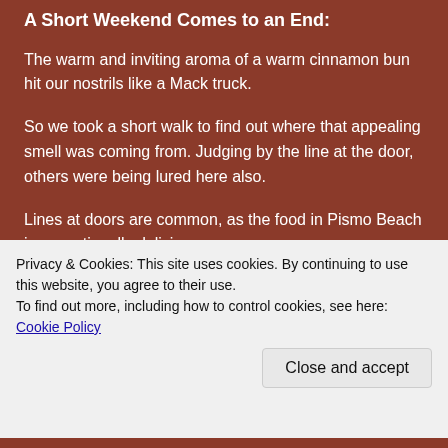A Short Weekend Comes to an End:
The warm and inviting aroma of a warm cinnamon bun hit our nostrils like a Mack truck.
So we took a short walk to find out where that appealing smell was coming from. Judging by the line at the door, others were being lured here also.
Lines at doors are common, as the food in Pismo Beach is exceptionally delicious.
On other trips, while traveling up the coast, I have had to
Privacy & Cookies: This site uses cookies. By continuing to use this website, you agree to their use.
To find out more, including how to control cookies, see here: Cookie Policy
Close and accept